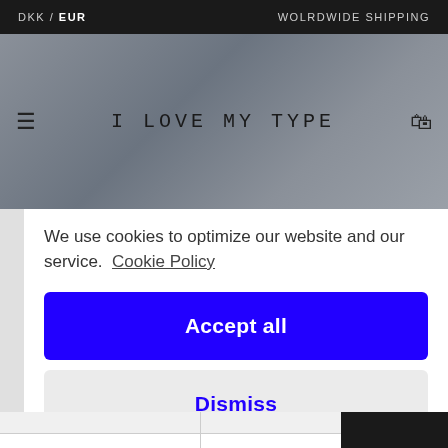DKK / EUR   WOLRDWIDE SHIPPING
[Figure (screenshot): Website header with hamburger menu icon, 'I LOVE MY TYPE' logo text, and shopping bag icon over a grey stone texture background photo]
We use cookies to optimize our website and our service.  Cookie Policy
Accept all
Dismiss
Preferences